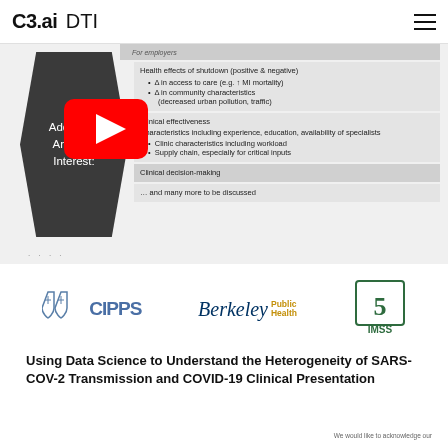C3.ai DTI
[Figure (screenshot): Slide showing 'Additional Areas of Interest' with a dark hexagonal label on the left and bullet points about health effects of shutdown, community characteristics, clinical effectiveness, clinic characteristics, supply chain, clinical decision-making, and more. A YouTube play button overlay is visible on the slide.]
[Figure (logo): CIPPS institution logo with shield icons]
[Figure (logo): UC Berkeley Public Health logo]
[Figure (logo): IMSS logo (Instituto Mexicano del Seguro Social)]
Using Data Science to Understand the Heterogeneity of SARS-COV-2 Transmission and COVID-19 Clinical Presentation
We would like to acknowledge our